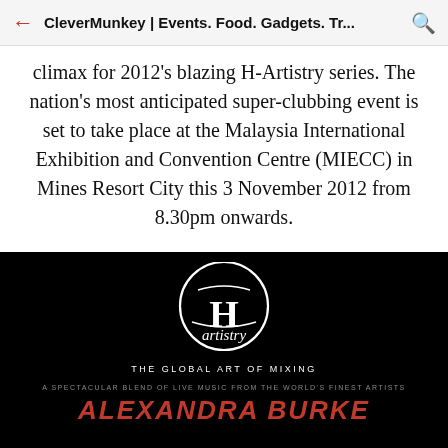CleverMunkey | Events. Food. Gadgets. Tr...
climax for 2012's blazing H-Artistry series. The nation's most anticipated super-clubbing event is set to take place at the Malaysia International Exhibition and Convention Centre (MIECC) in Mines Resort City this 3 November 2012 from 8.30pm onwards.
[Figure (logo): H-Artistry logo on black background with text 'THE GLOBAL ART OF MIXING' and 'A SPECTACULAR BLEND OF LIVE MUSIC FROM THE WORLD'S FINEST ARTISTS' followed by 'ALEXANDRA BURKE' in red text]